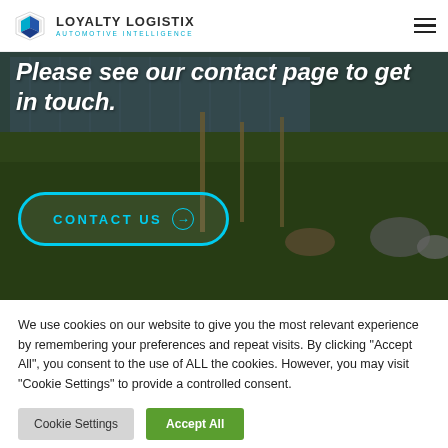LOYALTY LOGISTIX AUTOMOTIVE INTELLIGENCE
Please see our contact page to get in touch.
[Figure (screenshot): A button with cyan/teal rounded border outline reading 'CONTACT US' with a circle arrow icon, overlaid on a green grass outdoor background.]
We use cookies on our website to give you the most relevant experience by remembering your preferences and repeat visits. By clicking "Accept All", you consent to the use of ALL the cookies. However, you may visit "Cookie Settings" to provide a controlled consent.
Cookie Settings  Accept All